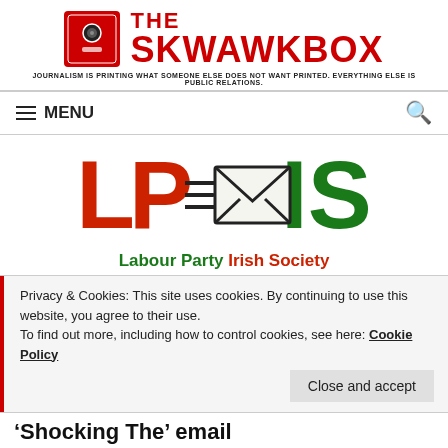[Figure (logo): The Skwawkbox logo: red square icon with camera doorbell image on left, bold red text 'THE SKWAWKBOX' on right, tagline below: 'JOURNALISM IS PRINTING WHAT SOMEONE ELSE DOES NOT WANT PRINTED. EVERYTHING ELSE IS PUBLIC RELATIONS.']
≡ MENU
[Figure (logo): Labour Party Irish Society (LPIS) logo: large red letters 'L' and 'P', green letters 'I' and 'S', with a flying envelope icon in the center, subtitle: 'Labour Party Irish Society' in green and red]
Privacy & Cookies: This site uses cookies. By continuing to use this website, you agree to their use.
To find out more, including how to control cookies, see here: Cookie Policy
Close and accept
'Shocking The' email